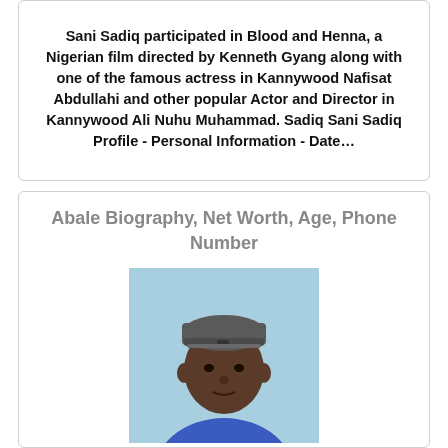Sani Sadiq participated in Blood and Henna, a Nigerian film directed by Kenneth Gyang along with one of the famous actress in Kannywood Nafisat Abdullahi and other popular Actor and Director in Kannywood Ali Nuhu Muhammad. Sadiq Sani Sadiq Profile - Personal Information - Date…
Abale Biography, Net Worth, Age, Phone Number
[Figure (photo): Portrait photo of a young man wearing a grey beanie hat and blue hoodie, against a light blue background]